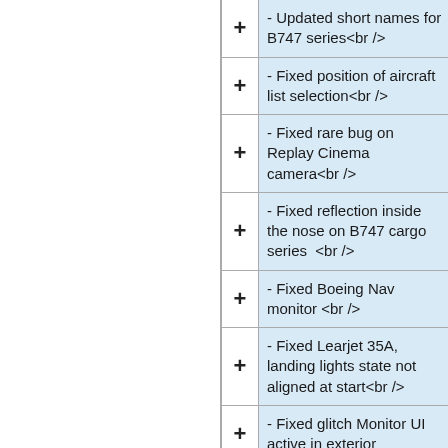- Updated short names for B747 series<br />
- Fixed position of aircraft list selection<br />
- Fixed rare bug on Replay Cinema camera<br />
- Fixed reflection inside the nose on B747 cargo series  <br />
- Fixed Boeing Nav monitor <br />
- Fixed Learjet 35A, landing lights state not aligned at start<br />
- Fixed glitch Monitor UI active in exterior